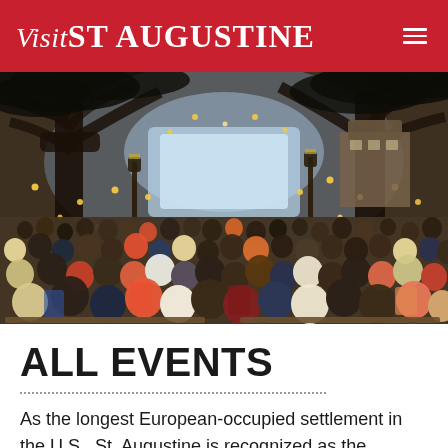Visit St Augustine
[Figure (photo): Aerial/overhead view of an outdoor event in St. Augustine at dusk. A large crowd of people sit on wooden benches in a courtyard area surrounded by large oak trees draped with string lights and lanterns. A lit stage or performance area is visible in the background center.]
ALL EVENTS
As the longest European-occupied settlement in the U.S., St. Augustine is recognized as the